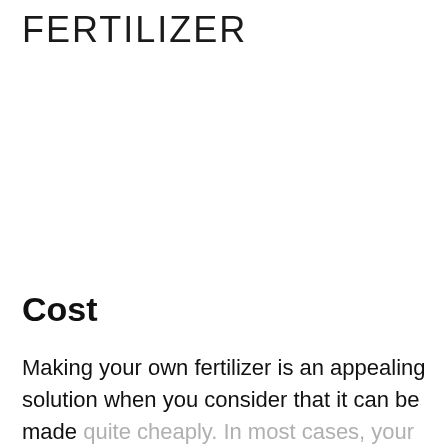FERTILIZER
Cost
Making your own fertilizer is an appealing solution when you consider that it can be made quite cheaply. In most cases, your main ingredients are either free or cost very little